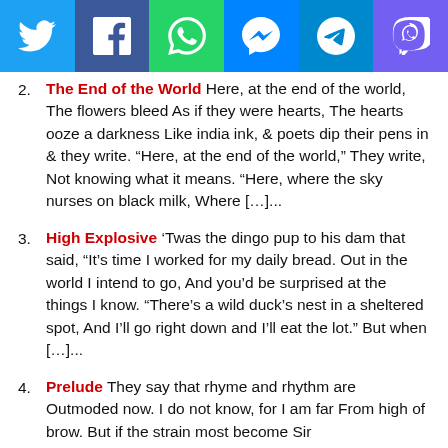[Figure (other): Social media sharing bar with icons: Twitter, Facebook, WhatsApp, Messenger, Telegram, Viber]
2. The End of the World Here, at the end of the world, The flowers bleed As if they were hearts, The hearts ooze a darkness Like india ink, & poets dip their pens in & they write. “Here, at the end of the world,” They write, Not knowing what it means. “Here, where the sky nurses on black milk, Where [...]...
3. High Explosive ‘Twas the dingo pup to his dam that said, “It’s time I worked for my daily bread. Out in the world I intend to go, And you’d be surprised at the things I know. “There’s a wild duck’s nest in a sheltered spot, And I’ll go right down and I’ll eat the lot.” But when [...]...
4. Prelude They say that rhyme and rhythm are Outmoded now. I do not know, for I am far From high of brow. But if the strain most become Sir […